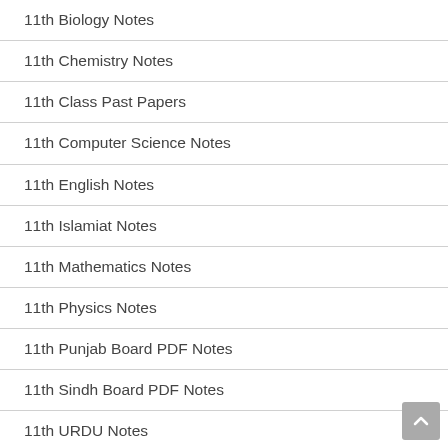11th Biology Notes
11th Chemistry Notes
11th Class Past Papers
11th Computer Science Notes
11th English Notes
11th Islamiat Notes
11th Mathematics Notes
11th Physics Notes
11th Punjab Board PDF Notes
11th Sindh Board PDF Notes
11th URDU Notes
12th Biology Notes
12th Chemistry Notes